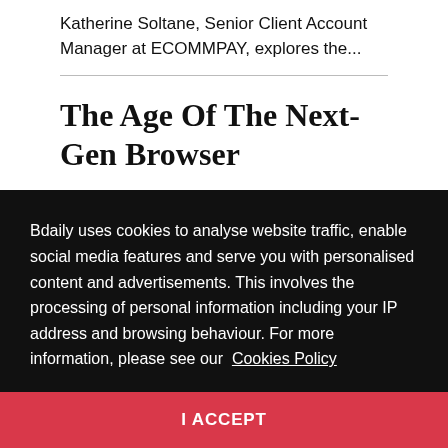Katherine Soltane, Senior Client Account Manager at ECOMMPAY, explores the...
The Age Of The Next-Gen Browser
By Avi Raz Cohen, General Manager at Hola As technology evolves...
Bdaily uses cookies to analyse website traffic, enable social media features and serve you with personalised content and advertisements. This involves the processing of personal information including your IP address and browsing behaviour. For more information, please see our Cookies Policy
I ACCEPT